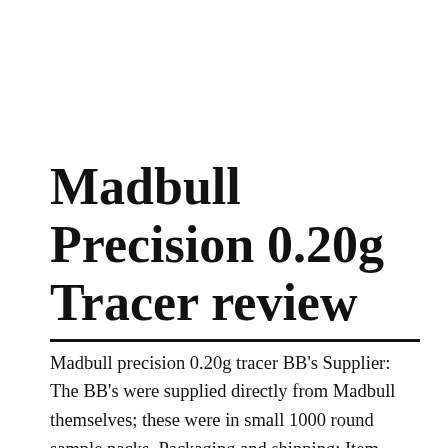Madbull Precision 0.20g Tracer review
Madbull precision 0.20g tracer BB's Supplier: The BB's were supplied directly from Madbull themselves; these were in small 1000 round sample packs. Packaging and shipping: Item came well wrapped in a sturdy cardboard box